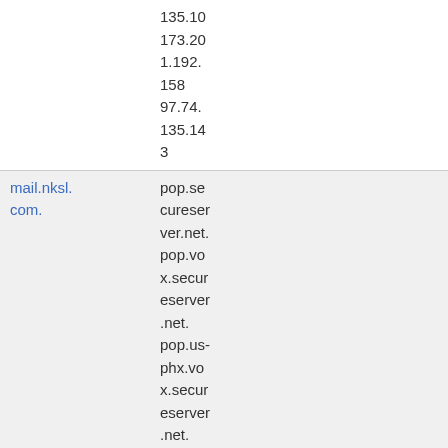| Domain | Mail Server |  |
| --- | --- | --- |
|  | 135.10
173.20
1.192.
158
97.74.
135.14
3 |  |
| mail.nksl.com. | pop.secureserver.net.
pop.vox.secureserver.net.
pop.us-phx.vox.secureserver.net.
97.74.135.10
97.74. |  |